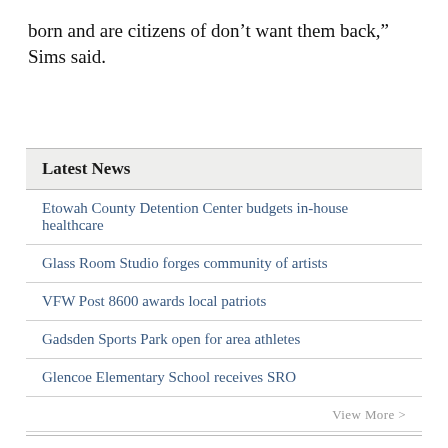born and are citizens of don’t want them back,” Sims said.
Latest News
Etowah County Detention Center budgets in-house healthcare
Glass Room Studio forges community of artists
VFW Post 8600 awards local patriots
Gadsden Sports Park open for area athletes
Glencoe Elementary School receives SRO
View More >